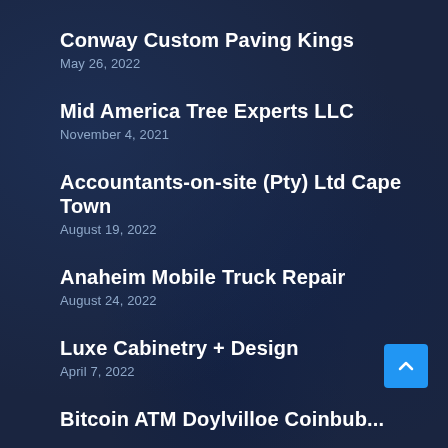Conway Custom Paving Kings
May 26, 2022
Mid America Tree Experts LLC
November 4, 2021
Accountants-on-site (Pty) Ltd Cape Town
August 19, 2022
Anaheim Mobile Truck Repair
August 24, 2022
Luxe Cabinetry + Design
April 7, 2022
Bitcoin ATM Doylvilloe Coinbub...